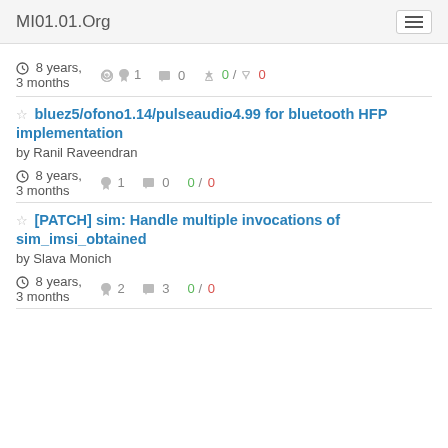MI01.01.Org
8 years, 3 months  1  0  0 / 0
bluez5/ofono1.14/pulseaudio4.99 for bluetooth HFP implementation by Ranil Raveendran
8 years, 3 months  1  0  0 / 0
[PATCH] sim: Handle multiple invocations of sim_imsi_obtained by Slava Monich
8 years, 3 months  2  3  0 / 0